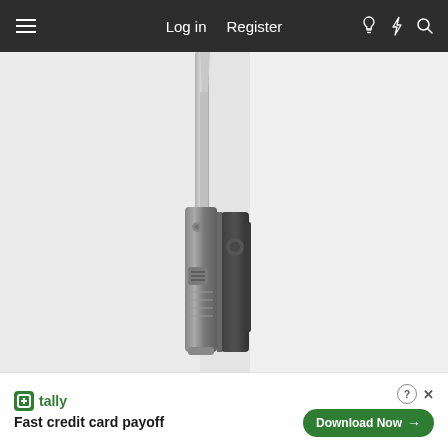Log in  Register
[Figure (photo): Close-up side view of a folding knife showing the spine edge with the blade partially open, titanium and carbon fiber handle scales visible, pivot hardware prominent, against a light gray background]
[Figure (photo): Partial view of a folding knife handle showing black textured G10 or carbon fiber scales with visible hardware, against a light gray background]
🌿 tally  Fast credit card payoff  Download Now →